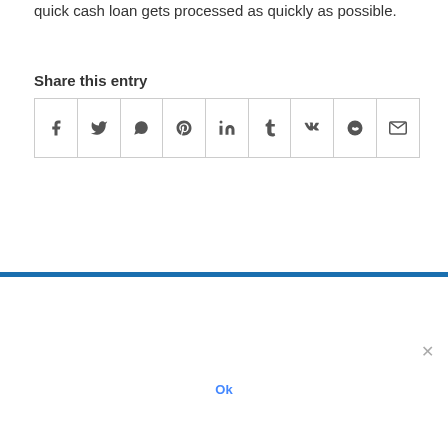quick cash loan gets processed as quickly as possible.
Share this entry
[Figure (other): Social share buttons grid with icons for Facebook, Twitter, WhatsApp, Pinterest, LinkedIn, Tumblr, VK, Reddit, and Email]
We use cookies to ensure that we give you the best experience on our website. If you continue to use this site we will assume that you are happy with it.
Ok